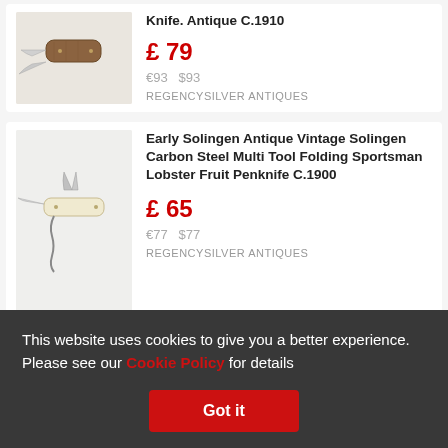[Figure (photo): Antique penknife with stag handle, two blades open]
Knife. Antique C.1910
£ 79
€93   $93
REGENCYSILVER ANTIQUES
[Figure (photo): Solingen multi-tool folding sportsman penknife with ivory-coloured scales and corkscrew attachment]
Early Solingen Antique Vintage Solingen Carbon Steel Multi Tool Folding Sportsman Lobster Fruit Penknife C.1900
£ 65
€77  $77
REGENCYSILVER ANTIQUES
This website uses cookies to give you a better experience. Please see our Cookie Policy for details
Got it